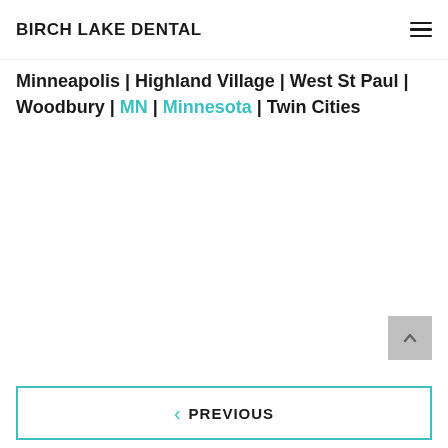BIRCH LAKE DENTAL
Minneapolis | Highland Village | West St Paul | Woodbury | MN | Minnesota | Twin Cities
< PREVIOUS